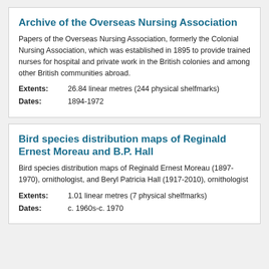Archive of the Overseas Nursing Association
Papers of the Overseas Nursing Association, formerly the Colonial Nursing Association, which was established in 1895 to provide trained nurses for hospital and private work in the British colonies and among other British communities abroad.
Extents: 26.84 linear metres (244 physical shelfmarks)
Dates: 1894-1972
Bird species distribution maps of Reginald Ernest Moreau and B.P. Hall
Bird species distribution maps of Reginald Ernest Moreau (1897-1970), ornithologist, and Beryl Patricia Hall (1917-2010), ornithologist
Extents: 1.01 linear metres (7 physical shelfmarks)
Dates: c. 1960s-c. 1970